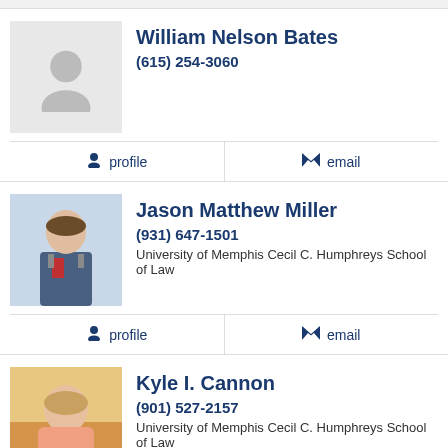William Nelson Bates
(615) 254-3060
profile  email
Jason Matthew Miller
(931) 647-1501
University of Memphis Cecil C. Humphreys School of Law
profile  email
Kyle I. Cannon
(901) 527-2157
University of Memphis Cecil C. Humphreys School of Law